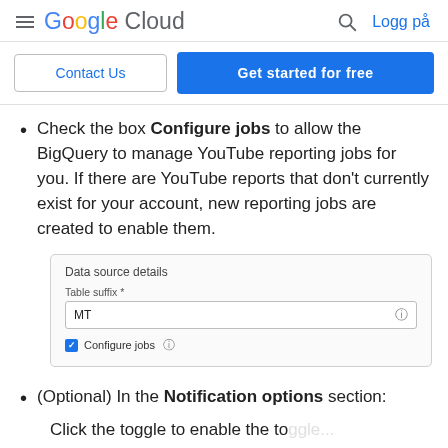Google Cloud  [search] Logg på
Contact Us   Get started for free
Check the box Configure jobs to allow the BigQuery to manage YouTube reporting jobs for you. If there are YouTube reports that don't currently exist for your account, new reporting jobs are created to enable them.
[Figure (screenshot): UI screenshot showing 'Data source details' panel with a 'Table suffix *' input field containing 'MT' and a checked 'Configure jobs' checkbox with a help icon.]
(Optional) In the Notification options section:
Click the toggle to enable the toggle...